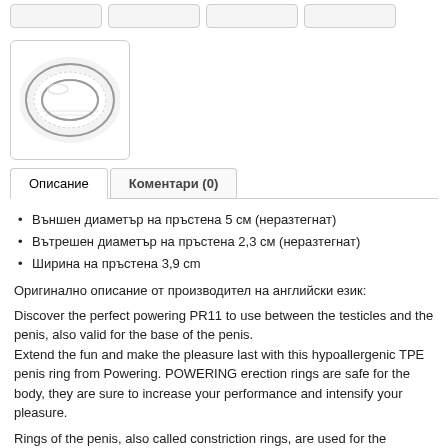[Figure (photo): Product image of a ring-shaped device (erection ring PR11) shown in a bordered box]
Описание	Коментари (0)
Външен диаметър на пръстена 5 см (неразтегнат)
Вътрешен диаметър на пръстена 2,3 см (неразтегнат)
Ширина на пръстена 3,9 cm
Оригинално описание от производител на английски език:
Discover the perfect powering PR11 to use between the testicles and the penis, also valid for the base of the penis.
Extend the fun and make the pleasure last with this hypoallergenic TPE penis ring from Powering. POWERING erection rings are safe for the body, they are sure to increase your performance and intensify your pleasure.
Rings of the penis, also called constriction rings, are used for the premature outflow of blood from the penis (called venous effusion or veno-occlusive dysfunction). Requirement is that an erection is still possible.